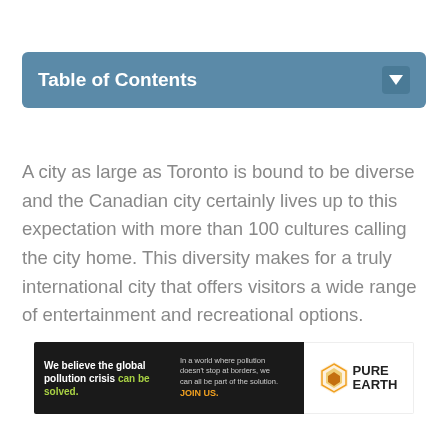Table of Contents
A city as large as Toronto is bound to be diverse and the Canadian city certainly lives up to this expectation with more than 100 cultures calling the city home. This diversity makes for a truly international city that offers visitors a wide range of entertainment and recreational options.
[Figure (other): Pure Earth advertisement banner: 'We believe the global pollution crisis can be solved. In a world where pollution doesn't stop at borders, we can all be part of the solution. JOIN US.' with Pure Earth logo.]